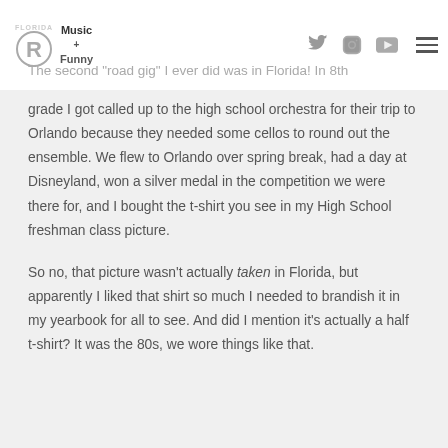Florida Man Music + Funny [navigation icons]
The second "road gig" I ever did was in Florida! In 8th grade I got called up to the high school orchestra for their trip to Orlando because they needed some cellos to round out the ensemble. We flew to Orlando over spring break, had a day at Disneyland, won a silver medal in the competition we were there for, and I bought the t-shirt you see in my High School freshman class picture.
So no, that picture wasn't actually taken in Florida, but apparently I liked that shirt so much I needed to brandish it in my yearbook for all to see. And did I mention it's actually a half t-shirt? It was the 80s, we wore things like that.